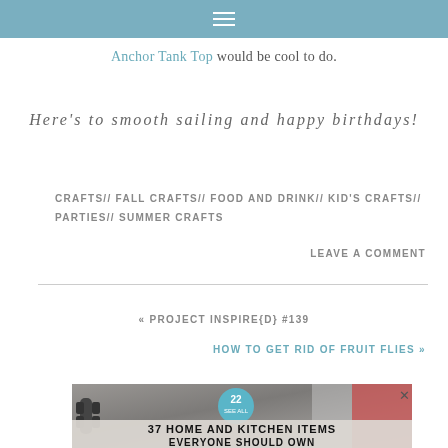≡
Anchor Tank Top would be cool to do.
Here's to smooth sailing and happy birthdays!
CRAFTS// FALL CRAFTS// FOOD AND DRINK// KID'S CRAFTS// PARTIES// SUMMER CRAFTS
LEAVE A COMMENT
« PROJECT INSPIRE{D} #139
HOW TO GET RID OF FRUIT FLIES »
[Figure (other): Advertisement banner for '37 Home and Kitchen Items Everyone Should Own' with a badge showing 22, close button X, and dumbbell weights imagery in background]